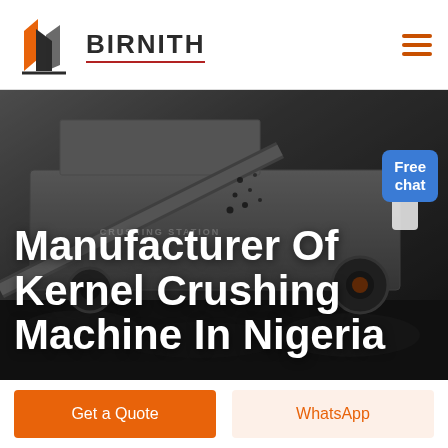BIRNITH
[Figure (photo): Industrial crushing station machinery in dark background with falling materials; large mobile crushing machine with text 'CRUSHING STATION' visible]
Manufacturer Of Kernel Crushing Machine In Nigeria
Free chat
Get a Quote
WhatsApp